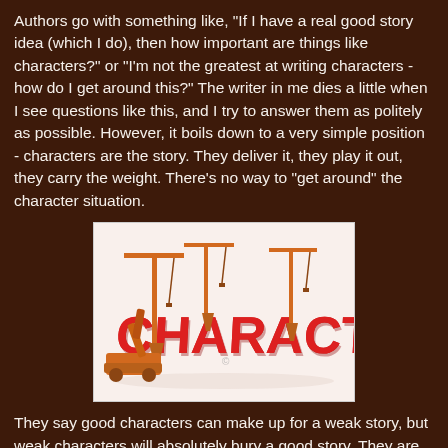Authors go with something like, "If I have a real good story idea (which I do), then how important are things like characters?" or "I'm not the greatest at writing characters - how do I get around this?" The writer in me dies a little when I see questions like this, and I try to answer them as politely as possible. However, it boils down to a very simple position - characters are the story. They deliver it, they play it out, they carry the weight. There's no way to "get around" the character situation.
[Figure (illustration): A white background image showing large red 3D block letters spelling 'CHARACTER' with orange construction cranes positioned around and between the letters, suggesting characters are being built or constructed.]
They say good characters can make up for a weak story, but weak characters will absolutely bury a good story. They are right, and with very few exceptions. So usually, I recommend to these people that they do some character-building